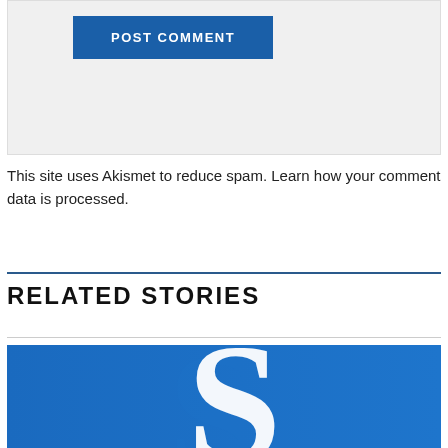[Figure (screenshot): POST COMMENT button on a light gray comment form background]
This site uses Akismet to reduce spam. Learn how your comment data is processed.
RELATED STORIES
[Figure (logo): Blue background with a large white letter S — a logo or related story thumbnail image]